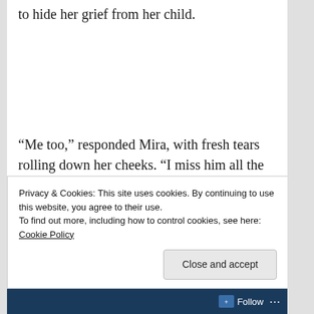to hide her grief from her child.
“Me too,” responded Mira, with fresh tears rolling down her cheeks. “I miss him all the time. Even when I am not thinking about him, I miss him. I
Privacy & Cookies: This site uses cookies. By continuing to use this website, you agree to their use.
To find out more, including how to control cookies, see here: Cookie Policy
Follow …